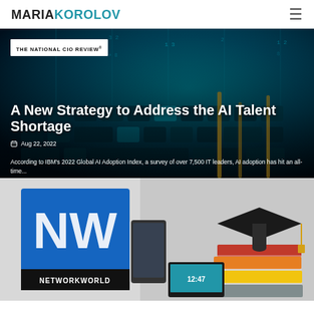MARIAKOROLOV
[Figure (screenshot): Article card with dark blue keyboard tech background, 'THE NATIONAL CIO REVIEW' badge, article title 'A New Strategy to Address the AI Talent Shortage', date Aug 22, 2022, and excerpt text about IBM's 2022 Global AI Adoption Index]
A New Strategy to Address the AI Talent Shortage
Aug 22, 2022
According to IBM's 2022 Global AI Adoption Index, a survey of over 7,500 IT leaders, AI adoption has hit an all-time...
[Figure (screenshot): Article card with NetworkWorld logo (blue square with NW letters) and graduation cap with stacked colorful books image]